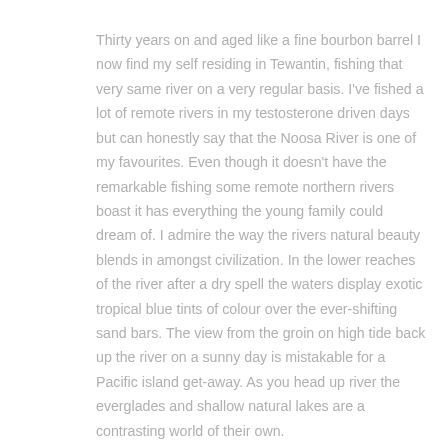Thirty years on and aged like a fine bourbon barrel I now find my self residing in Tewantin, fishing that very same river on a very regular basis. I've fished a lot of remote rivers in my testosterone driven days but can honestly say that the Noosa River is one of my favourites. Even though it doesn't have the remarkable fishing some remote northern rivers boast it has everything the young family could dream of. I admire the way the rivers natural beauty blends in amongst civilization. In the lower reaches of the river after a dry spell the waters display exotic tropical blue tints of colour over the ever-shifting sand bars. The view from the groin on high tide back up the river on a sunny day is mistakable for a Pacific island get-away. As you head up river the everglades and shallow natural lakes are a contrasting world of their own.
Childhood memories lead me to believe it was a predictable river, however, on returning to South-East Queensland after